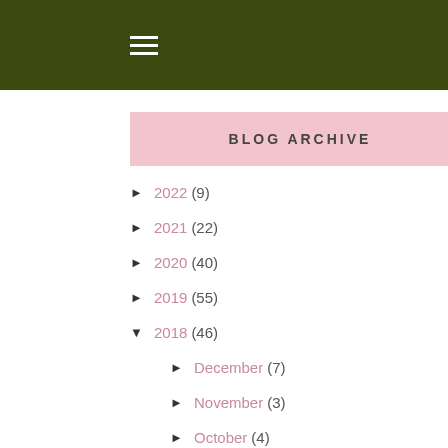≡ (hamburger menu)
BLOG ARCHIVE
► 2022 (9)
► 2021 (22)
► 2020 (40)
► 2019 (55)
▼ 2018 (46)
► December (7)
► November (3)
► October (4)
► August (2)
► July (9)
► June (1)